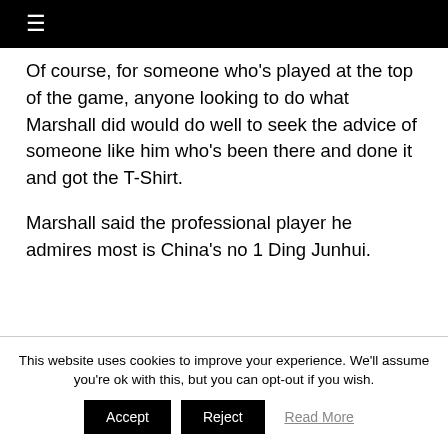≡
Of course, for someone who's played at the top of the game, anyone looking to do what Marshall did would do well to seek the advice of someone like him who's been there and done it and got the T-Shirt.
Marshall said the professional player he admires most is China's no 1 Ding Junhui.
This website uses cookies to improve your experience. We'll assume you're ok with this, but you can opt-out if you wish.
Accept   Reject   Read More